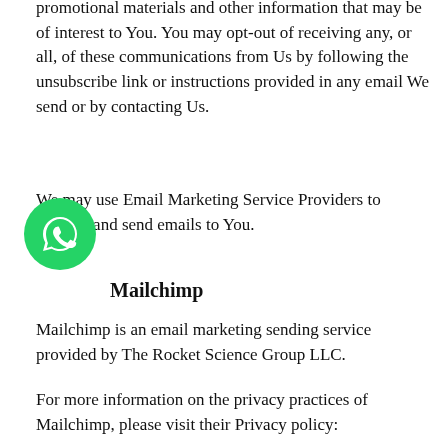promotional materials and other information that may be of interest to You. You may opt-out of receiving any, or all, of these communications from Us by following the unsubscribe link or instructions provided in any email We send or by contacting Us.
We may use Email Marketing Service Providers to manage and send emails to You.
Mailchimp
Mailchimp is an email marketing sending service provided by The Rocket Science Group LLC.
For more information on the privacy practices of Mailchimp, please visit their Privacy policy: